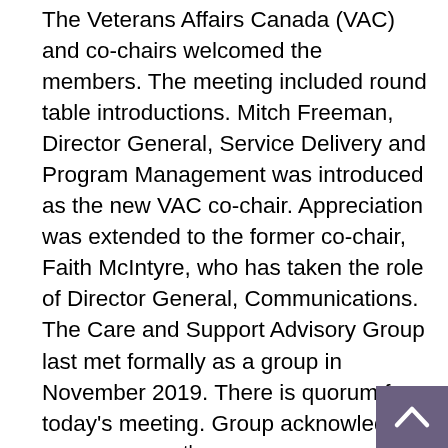The Veterans Affairs Canada (VAC) and co-chairs welcomed the members. The meeting included round table introductions. Mitch Freeman, Director General, Service Delivery and Program Management was introduced as the new VAC co-chair. Appreciation was extended to the former co-chair, Faith McIntyre, who has taken the role of Director General, Communications. The Care and Support Advisory Group last met formally as a group in November 2019. There is quorum for today's meeting. Group acknowledged September 30th, Orange shirt day and read passages of the importance and significance of this day. Orange Shirt Day is a valuable opportunity to remember and honor our Indigenous Veterans who went through